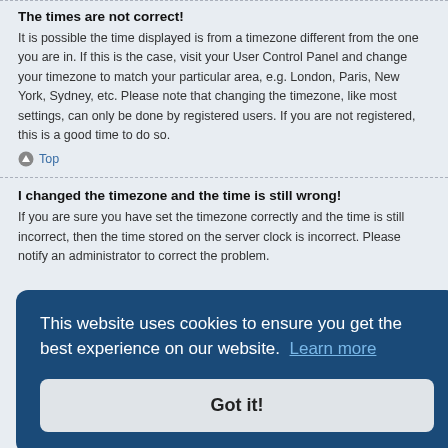The times are not correct!
It is possible the time displayed is from a timezone different from the one you are in. If this is the case, visit your User Control Panel and change your timezone to match your particular area, e.g. London, Paris, New York, Sydney, etc. Please note that changing the timezone, like most settings, can only be done by registered users. If you are not registered, this is a good time to do so.
Top
I changed the timezone and the time is still wrong!
If you are sure you have set the timezone correctly and the time is still incorrect, then the time stored on the server clock is incorrect. Please notify an administrator to correct the problem.
[Figure (other): Cookie consent overlay with text 'This website uses cookies to ensure you get the best experience on our website. Learn more' and a 'Got it!' button]
Top